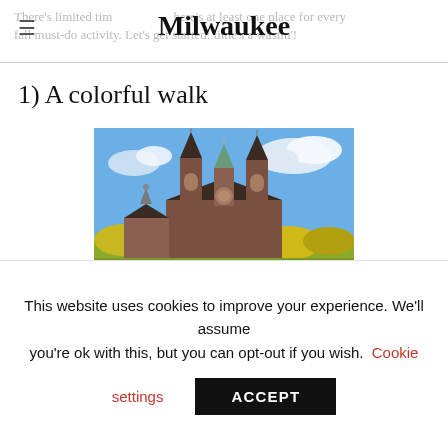Milwaukee
There's limited time, but there's at least one place for every fall must-do activity. Let's get started: time's a wastin'!
1) A colorful walk
[Figure (photo): Exterior photo of a large Gothic brick church with twin spires against a partly cloudy blue sky, surrounded by fall foliage with yellow and green trees in the foreground.]
This website uses cookies to improve your experience. We'll assume you're ok with this, but you can opt-out if you wish. Cookie settings ACCEPT